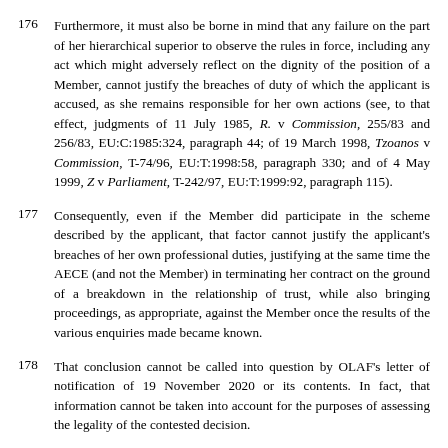176   Furthermore, it must also be borne in mind that any failure on the part of her hierarchical superior to observe the rules in force, including any act which might adversely reflect on the dignity of the position of a Member, cannot justify the breaches of duty of which the applicant is accused, as she remains responsible for her own actions (see, to that effect, judgments of 11 July 1985, R. v Commission, 255/83 and 256/83, EU:C:1985:324, paragraph 44; of 19 March 1998, Tzoanos v Commission, T-74/96, EU:T:1998:58, paragraph 330; and of 4 May 1999, Z v Parliament, T-242/97, EU:T:1999:92, paragraph 115).
177   Consequently, even if the Member did participate in the scheme described by the applicant, that factor cannot justify the applicant's breaches of her own professional duties, justifying at the same time the AECE (and not the Member) in terminating her contract on the ground of a breakdown in the relationship of trust, while also bringing proceedings, as appropriate, against the Member once the results of the various enquiries made became known.
178   That conclusion cannot be called into question by OLAF's letter of notification of 19 November 2020 or its contents. In fact, that information cannot be taken into account for the purposes of assessing the legality of the contested decision.